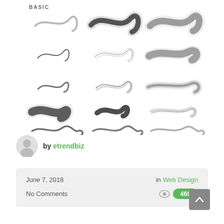[Figure (illustration): Grid of 15 brush stroke samples arranged in 5 rows and 3 columns, showing various brush textures and styles in black and gray on white background, labeled 'BASIC' at top left]
by etrendbiz
June 7, 2018
in Web Design
No Comments
469